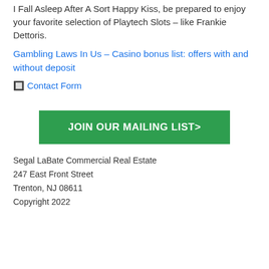I Fall Asleep After A Sort Happy Kiss, be prepared to enjoy your favorite selection of Playtech Slots – like Frankie Dettoris.
Gambling Laws In Us – Casino bonus list: offers with and without deposit
🔲 Contact Form
[Figure (other): Green button labeled JOIN OUR MAILING LIST>]
Segal LaBate Commercial Real Estate
247 East Front Street
Trenton, NJ 08611
Copyright 2022